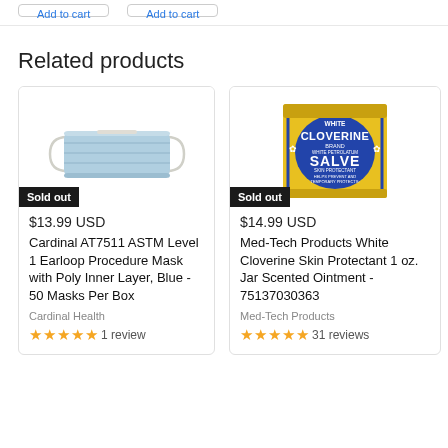Add to cart (button, partially visible, top left)
Add to cart (button, partially visible, top right)
Related products
[Figure (photo): Blue surgical earloop procedure mask on white background]
Sold out
$13.99 USD
Cardinal AT7511 ASTM Level 1 Earloop Procedure Mask with Poly Inner Layer, Blue - 50 Masks Per Box
Cardinal Health
★★★★★ 1 review
[Figure (photo): White Cloverine Brand White Petrolatum Salve Skin Protectant tin/box, yellow and blue packaging]
Sold out
$14.99 USD
Med-Tech Products White Cloverine Skin Protectant 1 oz. Jar Scented Ointment - 75137030363
Med-Tech Products
★★★★★ 31 reviews